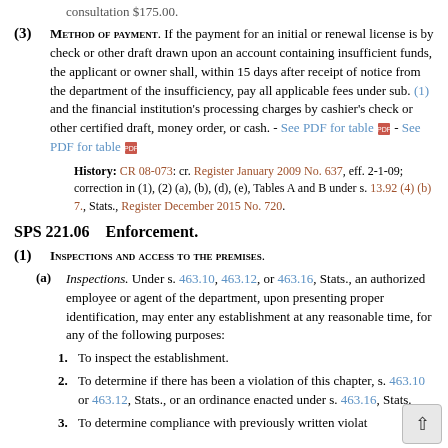consultation $175.00.
(3) METHOD OF PAYMENT. If the payment for an initial or renewal license is by check or other draft drawn upon an account containing insufficient funds, the applicant or owner shall, within 15 days after receipt of notice from the department of the insufficiency, pay all applicable fees under sub. (1) and the financial institution's processing charges by cashier's check or other certified draft, money order, or cash. - See PDF for table - See PDF for table
History: CR 08-073: cr. Register January 2009 No. 637, eff. 2-1-09; correction in (1), (2) (a), (b), (d), (e), Tables A and B under s. 13.92 (4) (b) 7., Stats., Register December 2015 No. 720.
SPS 221.06    Enforcement.
(1) INSPECTIONS AND ACCESS TO THE PREMISES.
(a) Inspections. Under s. 463.10, 463.12, or 463.16, Stats., an authorized employee or agent of the department, upon presenting proper identification, may enter any establishment at any reasonable time, for any of the following purposes:
1. To inspect the establishment.
2. To determine if there has been a violation of this chapter, s. 463.10 or 463.12, Stats., or an ordinance enacted under s. 463.16, Stats.
3. To determine compliance with previously written violat...